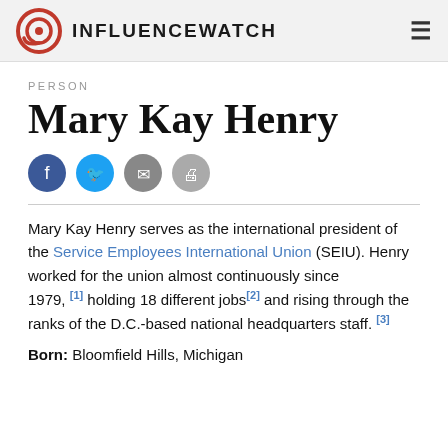INFLUENCEWATCH
PERSON
Mary Kay Henry
Mary Kay Henry serves as the international president of the Service Employees International Union (SEIU). Henry worked for the union almost continuously since 1979, [1] holding 18 different jobs [2] and rising through the ranks of the D.C.-based national headquarters staff. [3]
Born: Bloomfield Hills, Michigan